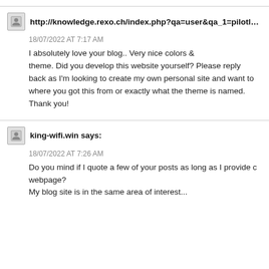[partial text clipped at top]
http://knowledge.rexo.ch/index.php?qa=user&qa_1=pilotlake
18/07/2022 AT 7:17 AM
I absolutely love your blog.. Very nice colors & theme. Did you develop this website yourself? Please reply back as I'm looking to create my own personal site and want to where you got this from or exactly what the theme is named. Thank you!
king-wifi.win says:
18/07/2022 AT 7:26 AM
Do you mind if I quote a few of your posts as long as I provide c webpage? My blog site is in the same area of interest...